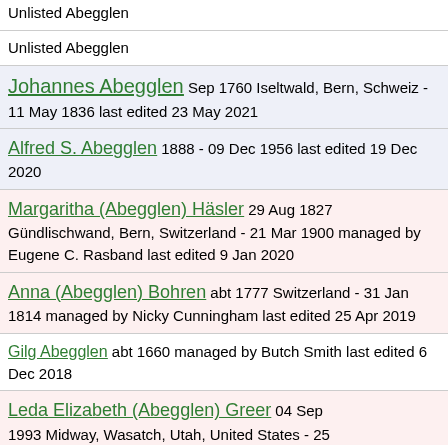Unlisted Abegglen
Unlisted Abegglen
Johannes Abegglen Sep 1760 Iseltwald, Bern, Schweiz - 11 May 1836 last edited 23 May 2021
Alfred S. Abegglen 1888 - 09 Dec 1956 last edited 19 Dec 2020
Margaritha (Abegglen) Häsler 29 Aug 1827 Gündlischwand, Bern, Switzerland - 21 Mar 1900 managed by Eugene C. Rasband last edited 9 Jan 2020
Anna (Abegglen) Bohren abt 1777 Switzerland - 31 Jan 1814 managed by Nicky Cunningham last edited 25 Apr 2019
Gilg Abegglen abt 1660 managed by Butch Smith last edited 6 Dec 2018
Leda Elizabeth (Abegglen) Greer 04 Sep 1993 Midway, Wasatch, Utah, United States - 25